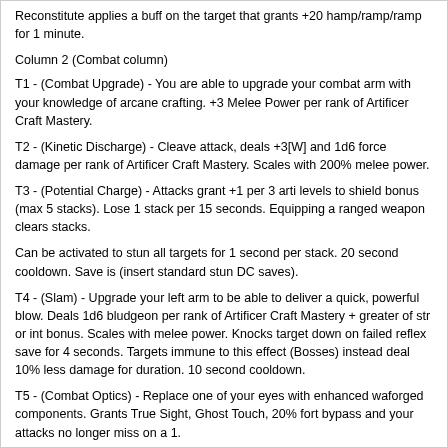Reconstitute applies a buff on the target that grants +20 hamp/ramp/ramp for 1 minute.
Column 2 (Combat column)
T1 - (Combat Upgrade) - You are able to upgrade your combat arm with your knowledge of arcane crafting. +3 Melee Power per rank of Artificer Craft Mastery.
T2 - (Kinetic Discharge) - Cleave attack, deals +3[W] and 1d6 force damage per rank of Artificer Craft Mastery. Scales with 200% melee power.
T3 - (Potential Charge) - Attacks grant +1 per 3 arti levels to shield bonus (max 5 stacks). Lose 1 stack per 15 seconds. Equipping a ranged weapon clears stacks.
Can be activated to stun all targets for 1 second per stack. 20 second cooldown. Save is (insert standard stun DC saves).
T4 - (Slam) - Upgrade your left arm to be able to deliver a quick, powerful blow. Deals 1d6 bludgeon per rank of Artificer Craft Mastery + greater of str or int bonus. Scales with melee power. Knocks target down on failed reflex save for 4 seconds. Targets immune to this effect (Bosses) instead deal 10% less damage for duration. 10 second cooldown.
T5 - (Combat Optics) - Replace one of your eyes with enhanced waforged components. Grants True Sight, Ghost Touch, 20% fort bypass and your attacks no longer miss on a 1.
Column 3 (Embed Column)
T1 - (Cyber Agility) - Replace part of your leg with enhanced warforged components. Grants +10 jump, +10 jump cap, 2% run speed per rank of Artificer Crafting Mastery, +5 balance and +2 max dex bonus.
T2 - (Reinforce Structure) - While in heavy/medium/admantine, grants +6 PRR and +15% shield AC. Auto-grants construct essence feat. If you have/take construct essence feat at level up or are warforged, gain +20 repair amp and